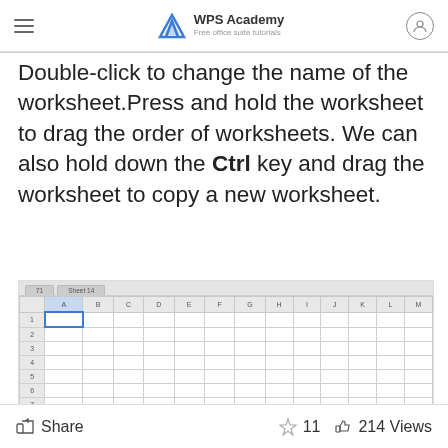WPS Academy — Free office suite tutorials
Double-click to change the name of the worksheet.Press and hold the worksheet to drag the order of worksheets. We can also hold down the Ctrl key and drag the worksheet to copy a new worksheet.
[Figure (screenshot): WPS Spreadsheet showing an empty worksheet grid with column headers A through N and row numbers 1 through 11. Cell A1 is selected (highlighted in blue border). A tab row is visible at the top.]
Share   11   214 Views